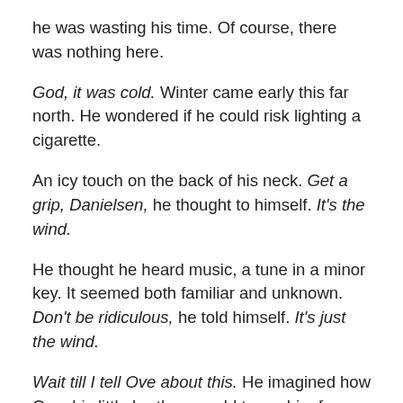he was wasting his time. Of course, there was nothing here.
God, it was cold. Winter came early this far north. He wondered if he could risk lighting a cigarette.
An icy touch on the back of his neck. Get a grip, Danielsen, he thought to himself. It's the wind.
He thought he heard music, a tune in a minor key. It seemed both familiar and unknown. Don't be ridiculous, he told himself. It's just the wind.
Wait till I tell Ove about this. He imagined how Ove, his little brother, would tease him for being frightened by shadows and wind.
It was close to midnight. He rubbed his eyes, blinked, as